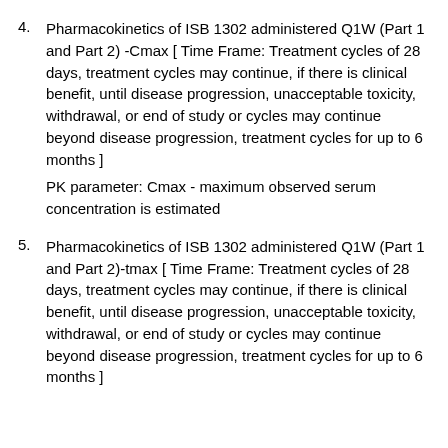4. Pharmacokinetics of ISB 1302 administered Q1W (Part 1 and Part 2) -Cmax [ Time Frame: Treatment cycles of 28 days, treatment cycles may continue, if there is clinical benefit, until disease progression, unacceptable toxicity, withdrawal, or end of study or cycles may continue beyond disease progression, treatment cycles for up to 6 months ]
PK parameter: Cmax - maximum observed serum concentration is estimated
5. Pharmacokinetics of ISB 1302 administered Q1W (Part 1 and Part 2)-tmax [ Time Frame: Treatment cycles of 28 days, treatment cycles may continue, if there is clinical benefit, until disease progression, unacceptable toxicity, withdrawal, or end of study or cycles may continue beyond disease progression, treatment cycles for up to 6 months ]